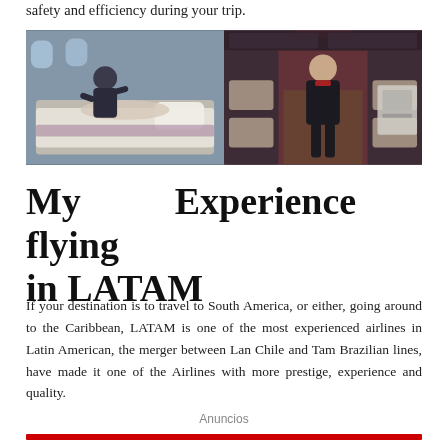safety and efficiency during your trip.
[Figure (photo): Two photos side by side showing airline cabin crew service: left photo shows a flight attendant tending to a passenger in a lie-flat business class seat; right photo shows a flight attendant standing in the business class cabin aisle with red ambient lighting.]
My Experience flying in LATAM
If your destination is to travel to South America, or either, going around to the Caribbean, LATAM is one of the most experienced airlines in Latin American, the merger between Lan Chile and Tam Brazilian lines, have made it one of the Airlines with more prestige, experience and quality.
Anuncios